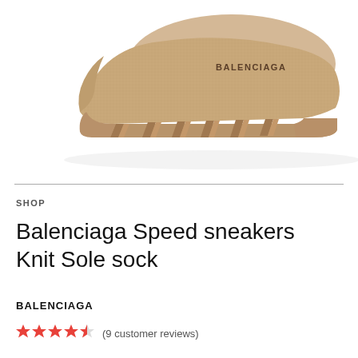[Figure (photo): Balenciaga Speed sneaker in beige/sand color, side profile view showing sock-knit upper with BALENCIAGA logo text and distinctive chunky sole with multiple protruding ridges]
SHOP
Balenciaga Speed sneakers Knit Sole sock
BALENCIAGA
(9 customer reviews)